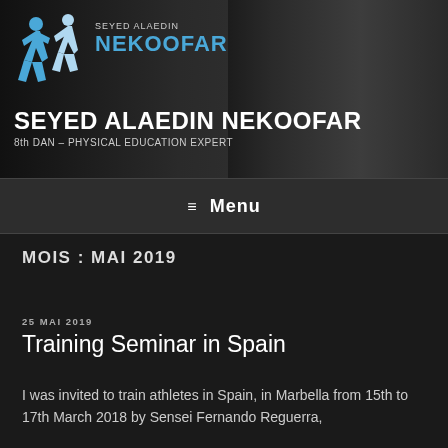[Figure (illustration): Website header banner with martial arts logo (two blue silhouette figures fighting) and a man in white karate gi in background. Text overlay reads SEYED ALAEDIN and NEKOOFAR in blue.]
SEYED ALAEDIN NEKOOFAR
8th DAN – PHYSICAL EDUCATION EXPERT
≡ Menu
MOIS : MAI 2019
25 MAI 2019
Training Seminar in Spain
I was invited to train athletes in Spain, in Marbella from 15th to 17th March 2018 by Sensei Fernando Reguerra,